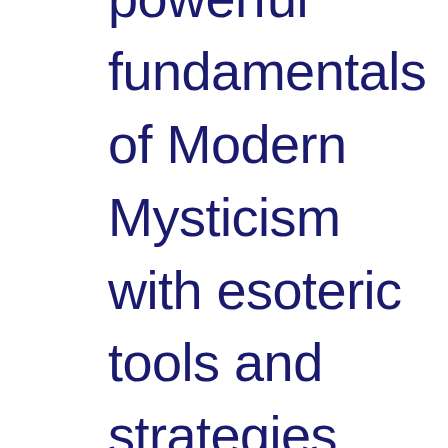powerful fundamentals of Modern Mysticism with esoteric tools and strategies that you can put to work in life, love, success and happiness. Become a part of an amazing group of